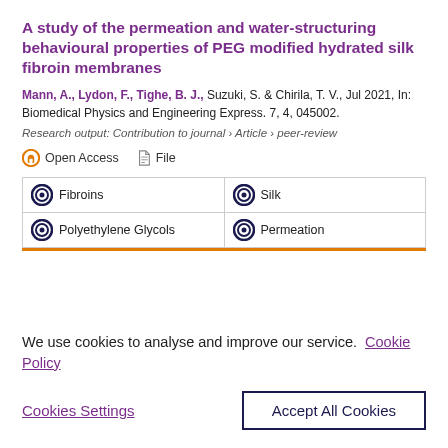A study of the permeation and water-structuring behavioural properties of PEG modified hydrated silk fibroin membranes
Mann, A., Lydon, F., Tighe, B. J., Suzuki, S. & Chirila, T. V., Jul 2021, In: Biomedical Physics and Engineering Express. 7, 4, 045002.
Research output: Contribution to journal › Article › peer-review
Open Access   File
| Fibroins | Silk |
| Polyethylene Glycols | Permeation |
We use cookies to analyse and improve our service. Cookie Policy
Cookies Settings   Accept All Cookies